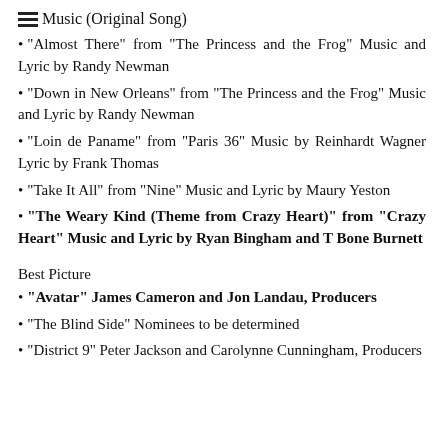Music (Original Song)
“Almost There” from “The Princess and the Frog” Music and Lyric by Randy Newman
“Down in New Orleans” from “The Princess and the Frog” Music and Lyric by Randy Newman
“Loin de Paname” from “Paris 36” Music by Reinhardt Wagner Lyric by Frank Thomas
“Take It All” from “Nine” Music and Lyric by Maury Yeston
“The Weary Kind (Theme from Crazy Heart)” from “Crazy Heart” Music and Lyric by Ryan Bingham and T Bone Burnett
Best Picture
“Avatar” James Cameron and Jon Landau, Producers
“The Blind Side” Nominees to be determined
“District 9” Peter Jackson and Carolynne Cunningham, Producers